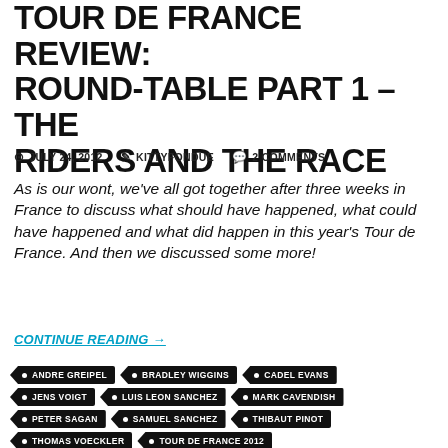TOUR DE FRANCE REVIEW: ROUND-TABLE PART 1 – THE RIDERS AND THE RACE
JULY 24, 2012 · KITTYFONDUE · 2 COMMENTS
As is our wont, we've all got together after three weeks in France to discuss what should have happened, what could have happened and what did happen in this year's Tour de France. And then we discussed some more!
CONTINUE READING →
ANDRE GREIPEL
BRADLEY WIGGINS
CADEL EVANS
JENS VOIGT
LUIS LEON SANCHEZ
MARK CAVENDISH
PETER SAGAN
SAMUEL SANCHEZ
THIBAUT PINOT
THOMAS VOECKLER
TOUR DE FRANCE 2012
VACANSOLEIL-DCM
VINCENZO NIBALI